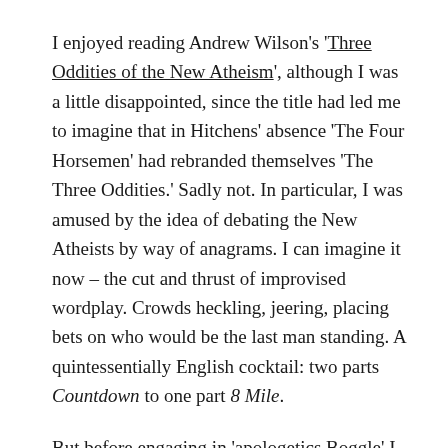I enjoyed reading Andrew Wilson's 'Three Oddities of the New Atheism', although I was a little disappointed, since the title had led me to imagine that in Hitchens' absence 'The Four Horsemen' had rebranded themselves 'The Three Oddities.' Sadly not. In particular, I was amused by the idea of debating the New Atheists by way of anagrams. I can imagine it now – the cut and thrust of improvised wordplay. Crowds heckling, jeering, placing bets on who would be the last man standing. A quintessentially English cocktail: two parts Countdown to one part 8 Mile.
But before engaging in 'apologetics Boggle' I would suggest Andrew does his homework and perhaps considers duelling under a pseudonym, because it wouldn't take long for a great mind like that of